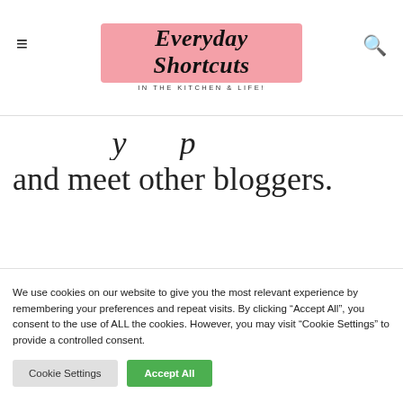Everyday Shortcuts IN THE KITCHEN & LIFE!
and meet other bloggers.
We use cookies on our website to give you the most relevant experience by remembering your preferences and repeat visits. By clicking "Accept All", you consent to the use of ALL the cookies. However, you may visit "Cookie Settings" to provide a controlled consent.
Cookie Settings | Accept All